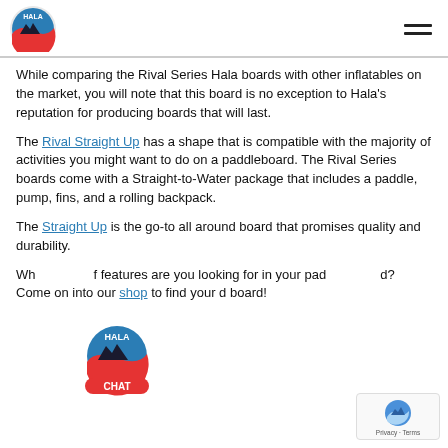HALA [logo] [hamburger menu]
While comparing the Rival Series Hala boards with other inflatables on the market, you will note that this board is no exception to Hala's reputation for producing boards that will last.
The Rival Straight Up has a shape that is compatible with the majority of activities you might want to do on a paddleboard. The Rival Series boards come with a Straight-to-Water package that includes a paddle, pump, fins, and a rolling backpack.
The Straight Up is the go-to all around board that promises quality and durability.
What features are you looking for in your paddleboard? Come on into our shop to find your dream board!